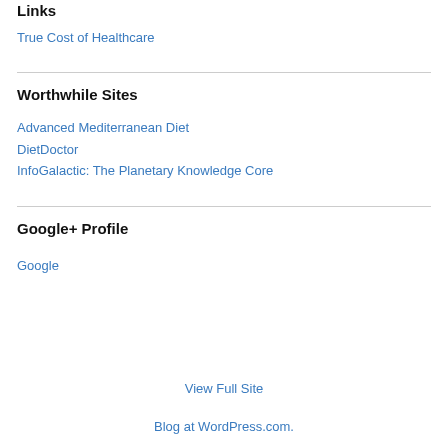Links
True Cost of Healthcare
Worthwhile Sites
Advanced Mediterranean Diet
DietDoctor
InfoGalactic: The Planetary Knowledge Core
Google+ Profile
Google
View Full Site
Blog at WordPress.com.